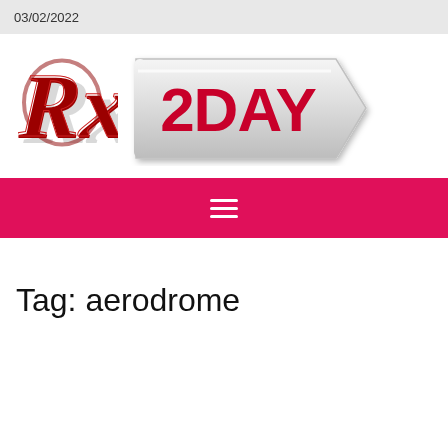03/02/2022
[Figure (logo): Rx 2DAY logo — decorative italic Rx symbol in dark red on the left, and a silver arrow-shaped badge with bold red text '2DAY' on the right]
Tag: aerodrome